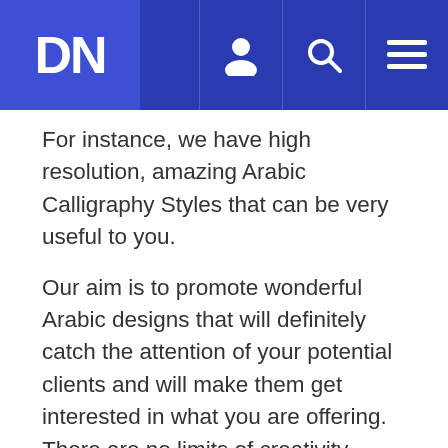DN [navigation bar with logo and icons]
For instance, we have high resolution, amazing Arabic Calligraphy Styles that can be very useful to you.
Our aim is to promote wonderful Arabic designs that will definitely catch the attention of your potential clients and will make them get interested in what you are offering. There are no limits of creativity when it comes to arts and we truly believe we did a great job till now as our clients were always happy and satisfied.
At Arabic Calligraphy we have expert calligraphers with a great experience in this field and we have graphic and web designers. You can get any time outstanding calligraphy designs and formats without too much effort. All you need to get logo design or names in Arabic calligraphy is to browse our website and choose